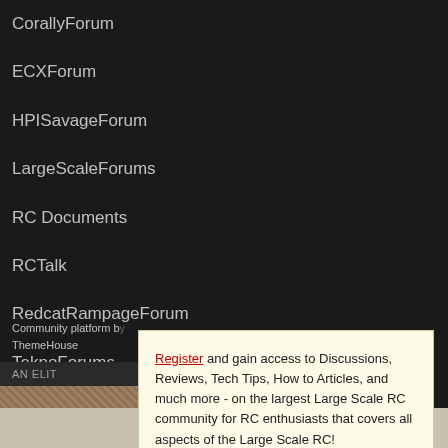CorallyForum
ECXForum
HPISavageForum
LargeScaleForums
RC Documents
RCTalk
RedcatRampageForum
TeknoForums
Community platform by ThemeHouse
AN ELIT
Register and gain access to Discussions, Reviews, Tech Tips, How to Articles, and much more - on the largest Large Scale RC community for RC enthusiasts that covers all aspects of the Large Scale RC!

Register Today It's free! This box will disappear once registered!